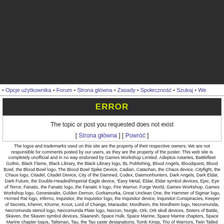[Figure (other): Dark gray header banner area]
• Opcje użytkownika • Forum • Strona główna • Zasady • Społeczność • Szukaj • We
ERROR
The topic or post you requested does not exist
[ Strona główna ] [ Powróć ]
The logos and trademarks used on this site are the property of their respective owners. We are not responsible for comments posted by our users, as they are the property of the poster. This web site is completely unofficial and in no way endorsed by Games Workshop Limited. Adeptus Astartes, Battlefleet Gothic, Black Flame, Black Library, the Black Library logo, BL Publishing, Blood Angels, Bloodquest, Blood Bowl, the Blood Bowl logo, The Blood Bowl Spike Device, Cadian, Catachan, the Chaos device, Cityfight, the Chaos logo, Citadel, Citadel Device, City of the Damned, Codex, Daemonhunters, Dark Angels, Dark Eldar, Dark Future, the Double-Headed/Imperial Eagle device, 'Eavy Metal, Eldar, Eldar symbol devices, Epic, Eye of Terror, Fanatic, the Fanatic logo, the Fanatic II logo, Fire Warrior, Forge World, Games Workshop, Games Workshop logo, Genestealer, Golden Demon, Gorkamorka, Great Unclean One, the Hammer of Sigmar logo, Horned Rat logo, Inferno, Inquisitor, the Inquisitor logo, the Inquisitor device, Inquisitor:Conspiracies, Keeper of Secrets, Khemri, Khorne, Kroot, Lord of Change, Marauder, Mordheim, the Mordheim logo, Necromunda, Necromunda stencil logo, Necromunda Plate logo, Necron, Nurgle, Ork, Ork skull devices, Sisters of Battle, Skaven, the Skaven symbol devices, Slaanesh, Space Hulk, Space Marine, Space Marine chapters, Space Marine chapter logos, Talisman, Tau, the Tau caste designations, Tomb Kings, Trio of Warriors, Twin Tailed Comet Logo, Tyranid, Tyrannid, Tzeentch, Ultramarines, Warhammer, Warhammer Historical, Warhammer Online, Warhammer 40k Device, Warhammer World logo, Warmaster, White Dwarf, the White Dwarf logo, and all associated marks, names, races, race insignia, characters, vehicles, locations, units, illustrations and images from the Blood Bowl game, the Warhammer world, the Talisaman world, and the Warhammer 40,000 universe are either ®, TM and/or ©